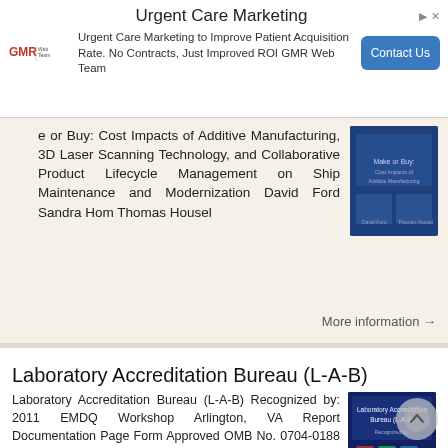[Figure (screenshot): Ad banner: Urgent Care Marketing — GMR Web Team logo, text, and Contact Us button]
e or Buy: Cost Impacts of Additive Manufacturing, 3D Laser Scanning Technology, and Collaborative Product Lifecycle Management on Ship Maintenance and Modernization David Ford Sandra Hom Thomas Housel
[Figure (photo): Thumbnail cover image of report about additive manufacturing and ship maintenance]
More information →
Laboratory Accreditation Bureau (L-A-B)
Laboratory Accreditation Bureau (L-A-B) Recognized by: 2011 EMDQ Workshop Arlington, VA Report Documentation Page Form Approved OMB No. 0704-0188 Public reporting burden for the collection of information
[Figure (photo): Thumbnail cover image of Laboratory Accreditation Bureau (L-A-B) document]